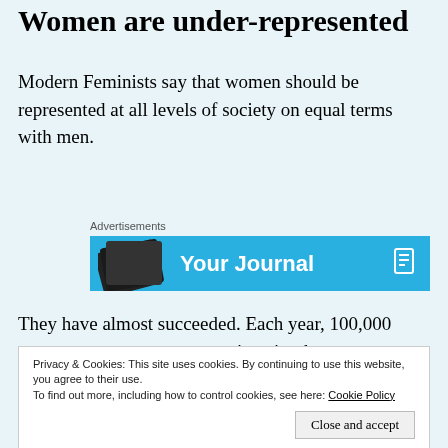Women are under-represented
Modern Feminists say that women should be represented at all levels of society on equal terms with men.
[Figure (other): Advertisement banner showing 'Your Journal' with a blue background and book-related imagery.]
They have almost succeeded. Each year, 100,000 more young women go to university than men. Women in their 20s earn more than their male peers. Feminists
Privacy & Cookies: This site uses cookies. By continuing to use this website, you agree to their use. To find out more, including how to control cookies, see here: Cookie Policy
of male over-representation: the prison population,